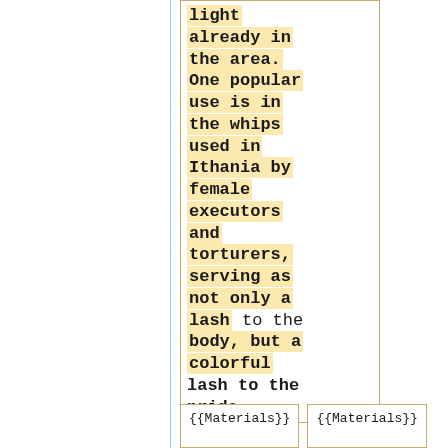light already in the area. One popular use is in the whips used in Ithania by female executors and torturers, serving as not only a lash to the body, but a colorful lash to the pride.
{{Materials}}
{{Materials}}